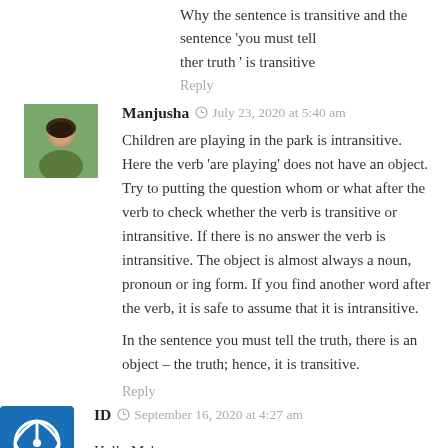Why the sentence is transitive and the sentence 'you must tell ther truth ' is transitive
Reply
Manjusha   July 23, 2020 at 5:40 am
Children are playing in the park is intransitive. Here the verb 'are playing' does not have an object. Try to putting the question whom or what after the verb to check whether the verb is transitive or intransitive. If there is no answer the verb is intransitive. The object is almost always a noun, pronoun or ing form. If you find another word after the verb, it is safe to assume that it is intransitive.
In the sentence you must tell the truth, there is an object – the truth; hence, it is transitive.
Reply
ID   September 16, 2020 at 4:27 am
Hello Ma'am.
Can you please explain why   She sat on the bench